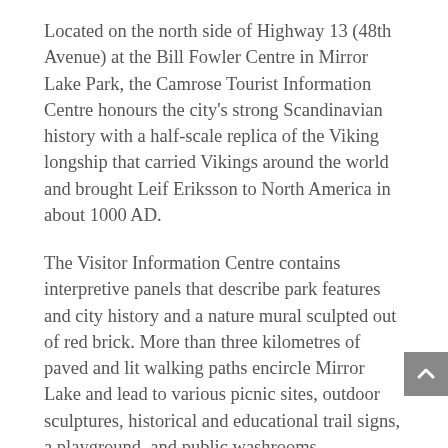Located on the north side of Highway 13 (48th Avenue) at the Bill Fowler Centre in Mirror Lake Park, the Camrose Tourist Information Centre honours the city's strong Scandinavian history with a half-scale replica of the Viking longship that carried Vikings around the world and brought Leif Eriksson to North America in about 1000 AD.
The Visitor Information Centre contains interpretive panels that describe park features and city history and a nature mural sculpted out of red brick. More than three kilometres of paved and lit walking paths encircle Mirror Lake and lead to various picnic sites, outdoor sculptures, historical and educational trail signs, a playground, and public washrooms.
Enjoy a ride on the 28-metre-long Mirror Lake Express Train (Tuesday and Thursday evenings, 5:30 p.m. to 8:00 p.m. from June to August). Start your journey at the arbour in Mirror Lake Park or watch for chances to hop on board this 24-passenger train at other city events.